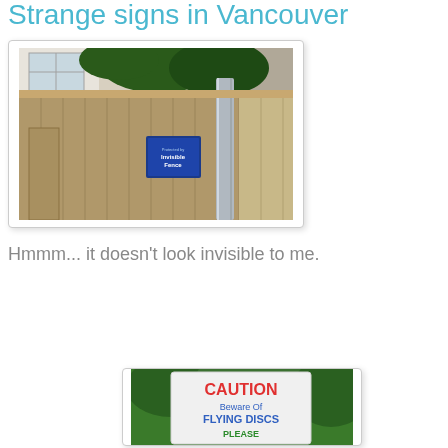Strange signs in Vancouver
[Figure (photo): Photo of a wooden fence with a blue 'Invisible Fence' sign attached to it, with a metal pole and greenery/house visible in the background.]
Hmmm... it doesn't look invisible to me.
[Figure (photo): Photo of a white sign with red and blue text reading 'CAUTION Beware Of FLYING DISCS PLEASE...' with green foliage in the background.]